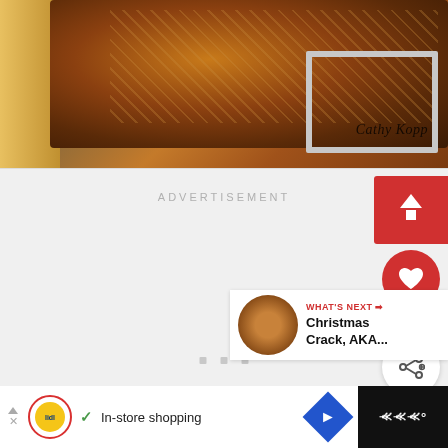[Figure (photo): Food photo showing toffee/caramel bars in a baking pan with watermark 'Cathy Kopp']
ADVERTISEMENT
[Figure (screenshot): Share/save panel with upload arrow button, heart icon, 140K count, and share button]
[Figure (screenshot): What's Next card showing thumbnail and text 'Christmas Crack, AKA...']
[Figure (screenshot): Bottom advertisement bar showing Lidl logo, In-store shopping text, navigation icon, and weather app icon]